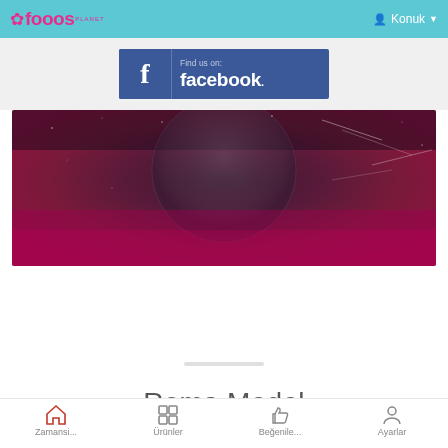fooos PLANET  Konuk
[Figure (logo): Find us on facebook banner with Facebook logo icon and text]
[Figure (photo): Space/galaxy hero banner image with dark purple and magenta tones, showing a planet or moon silhouette and star trails]
Roma Model
Home  Grid  Like  Account